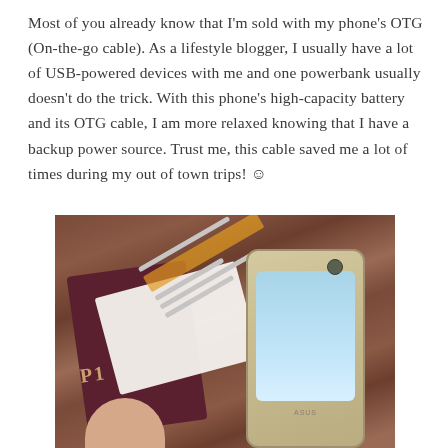Most of you already know that I'm sold with my phone's OTG (On-the-go cable). As a lifestyle blogger, I usually have a lot of USB-powered devices with me and one powerbank usually doesn't do the trick. With this phone's high-capacity battery and its OTG cable, I am more relaxed knowing that I have a backup power source. Trust me, this cable saved me a lot of times during my out of town trips! ☺
[Figure (photo): A hand holding a smartphone (gold/champagne color) alongside a passport and a boarding pass/ticket, resting on a wooden table background.]